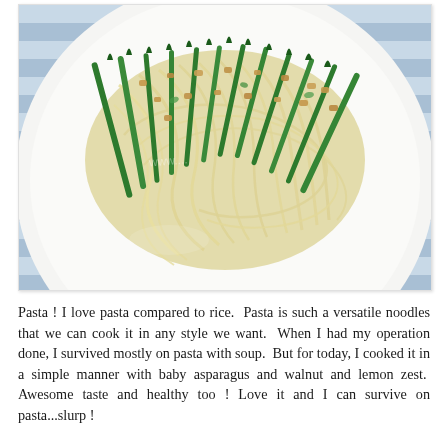[Figure (photo): A white plate of pasta (linguine/spaghetti) topped with bright green baby asparagus spears, chopped walnuts, and lemon zest, served on a blue and white striped cloth background. The dish is photographed from above.]
Pasta ! I love pasta compared to rice.  Pasta is such a versatile noodles that we can cook it in any style we want.  When I had my operation done, I survived mostly on pasta with soup.  But for today, I cooked it in a simple manner with baby asparagus and walnut and lemon zest.  Awesome taste and healthy too ! Love it and I can survive on pasta...slurp !